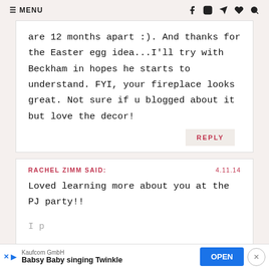≡ MENU  [social icons]
are 12 months apart :). And thanks for the Easter egg idea...I'll try with Beckham in hopes he starts to understand. FYI, your fireplace looks great. Not sure if u blogged about it but love the decor!
REPLY
RACHEL ZIMM SAID:  4.11.14
Loved learning more about you at the PJ party!!